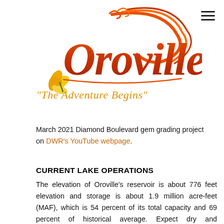[Figure (logo): Oroville city logo with stylized text reading 'Oroville' and tagline 'The Adventure Begins' with decorative flame and flower elements]
March 2021 Diamond Boulevard gem grading project on DWR's YouTube webpage.
CURRENT LAKE OPERATIONS
The elevation of Oroville's reservoir is about 776 feet elevation and storage is about 1.9 million acre-feet (MAF), which is 54 percent of its total capacity and 69 percent of historical average. Expect dry and temperatures in the mid-70s to 80s this weekend, increasing to the low- to mid-90s next week. The Feather River releases were increased last week and are currently at 2,700 cubic feet per second (cfs) to meet downstream Delta water quality and outflow